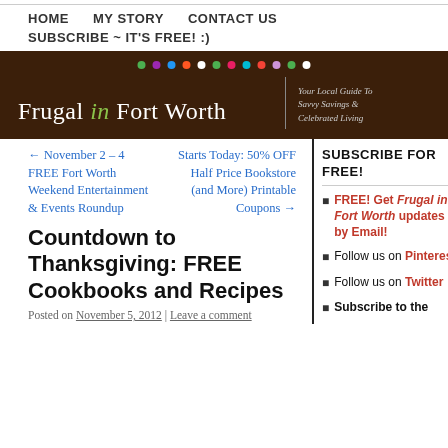HOME   MY STORY   CONTACT US   SUBSCRIBE ~ IT'S FREE! :)
[Figure (illustration): Dark brown banner for 'Frugal in Fort Worth' blog with colorful dots across top and tagline 'Your Local Guide To Savvy Savings & Celebrated Living']
← November 2 – 4 FREE Fort Worth Weekend Entertainment & Events Roundup
Starts Today: 50% OFF Half Price Bookstore (and More) Printable Coupons →
Countdown to Thanksgiving: FREE Cookbooks and Recipes
Posted on November 5, 2012 | Leave a comment
SUBSCRIBE FOR FREE!
FREE! Get Frugal in Fort Worth updates by Email!
Follow us on Pinterest
Follow us on Twitter
Subscribe to the